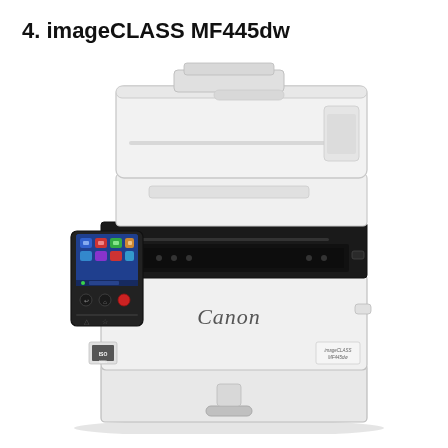4. imageCLASS MF445dw
[Figure (photo): Front-facing product photo of the Canon imageCLASS MF445dw monochrome laser multifunction printer. The printer is white/light gray with a black scanning/printing section in the middle. It features an automatic document feeder (ADF) on top, a touchscreen control panel on the left side with a blue LCD display showing app icons, paper tray at the bottom, output tray in the middle, and the Canon logo and imageCLASS MF445dw model text on the front body.]